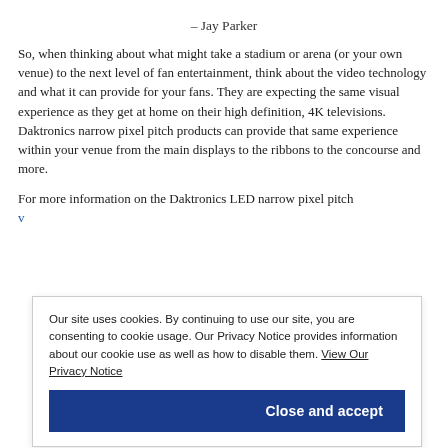– Jay Parker
So, when thinking about what might take a stadium or arena (or your own venue) to the next level of fan entertainment, think about the video technology and what it can provide for your fans. They are expecting the same visual experience as they get at home on their high definition, 4K televisions. Daktronics narrow pixel pitch products can provide that same experience within your venue from the main displays to the ribbons to the concourse and more.
For more information on the Daktronics LED narrow pixel pitch
Our site uses cookies. By continuing to use our site, you are consenting to cookie usage. Our Privacy Notice provides information about our cookie use as well as how to disable them. View Our Privacy Notice
Close and accept
Customer Spotlights, Industry Trend Education, Pro Sports and